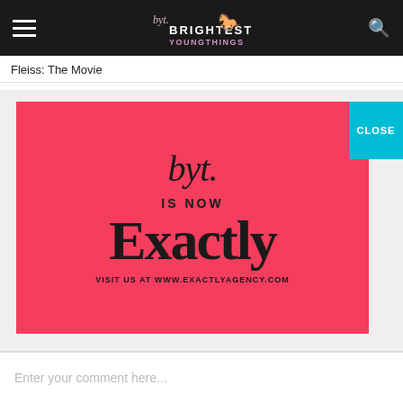BYT. BRIGHTEST YOUNG THINGS
Fleiss: The Movie
[Figure (advertisement): Red promotional banner with BYT script logo, text 'IS NOW Exactly VISIT US AT WWW.EXACTLYAGENCY.COM' on a salmon/red background with a cyan CLOSE button in the top right corner.]
Enter your comment here...